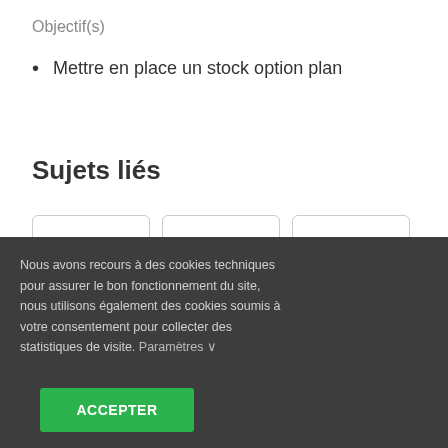Objectif(s)
Mettre en place un stock option plan
Sujets liés
[Figure (illustration): Three cards with icons: gear+puzzle piece, flag, gear+puzzle piece]
Nous avons recours à des cookies techniques pour assurer le bon fonctionnement du site, nous utilisons également des cookies soumis à votre consentement pour collecter des statistiques de visite. Paramètres ∨
ACCEPTER